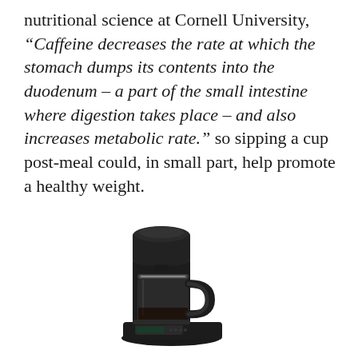nutritional science at Cornell University, “Caffeine decreases the rate at which the stomach dumps its contents into the duodenum – a part of the small intestine where digestion takes place – and also increases metabolic rate.” so sipping a cup post-meal could, in small part, help promote a healthy weight.
[Figure (photo): A black drip coffee maker with a glass carafe and digital display panel at the base.]